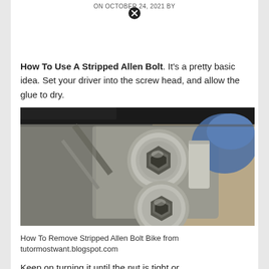ON OCTOBER 24, 2021 BY
How To Use A Stripped Allen Bolt. It's a pretty basic idea. Set your driver into the screw head, and allow the glue to dry.
[Figure (photo): Close-up photo of two stripped Allen bolt heads on a metal bicycle component, showing hexagonal recesses worn smooth.]
How To Remove Stripped Allen Bolt Bike from tutormostwant.blogspot.com
Keep on turning it until the nut is tight or